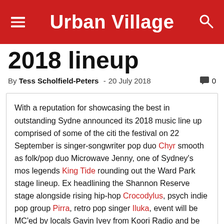Urban Village
2018 lineup
By Tess Scholfield-Peters - 20 July 2018  0
With a reputation for showcasing the best in outstanding Sydney announced its 2018 music line up comprised of some of the citi the festival on 22 September is singer-songwriter pop duo Chyr smooth as folk/pop duo Microwave Jenny, one of Sydney's mos legends King Tide rounding out the Ward Park stage lineup. Exp headlining the Shannon Reserve stage alongside rising hip-hop Crocodylus, psych indie pop group Pirra, retro pop singer Iluka, event will be MC'ed by locals Gavin Ivey from Koori Radio and be announced for the offical afterparty at The Clock Hotel.